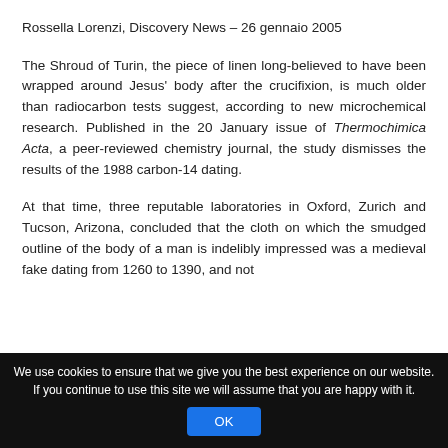Rossella Lorenzi, Discovery News – 26 gennaio 2005
The Shroud of Turin, the piece of linen long-believed to have been wrapped around Jesus' body after the crucifixion, is much older than radiocarbon tests suggest, according to new microchemical research. Published in the 20 January issue of Thermochimica Acta, a peer-reviewed chemistry journal, the study dismisses the results of the 1988 carbon-14 dating.
At that time, three reputable laboratories in Oxford, Zurich and Tucson, Arizona, concluded that the cloth on which the smudged outline of the body of a man is indelibly impressed was a medieval fake dating from 1260 to 1390, and not
We use cookies to ensure that we give you the best experience on our website. If you continue to use this site we will assume that you are happy with it.